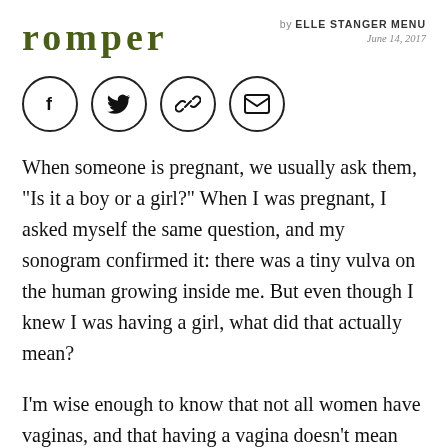romper
by ELLE STANGER MENU June 14, 2017
[Figure (other): Social share buttons: Facebook, Twitter, link/chain, email — each in a circle outline]
When someone is pregnant, we usually ask them, "Is it a boy or a girl?" When I was pregnant, I asked myself the same question, and my sonogram confirmed it: there was a tiny vulva on the human growing inside me. But even though I knew I was having a girl, what did that actually mean?
I'm wise enough to know that not all women have vaginas, and that having a vagina doesn't mean that my child will forever self-identify as female. But